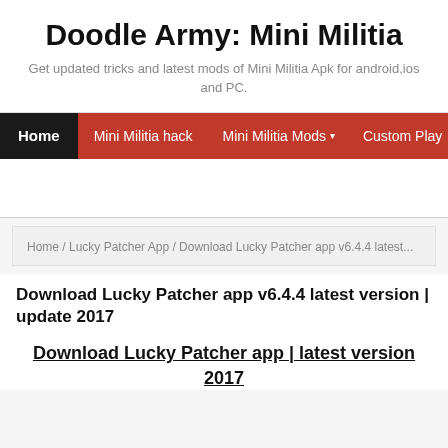Doodle Army: Mini Militia
Get updated tricks and latest mods of Mini Militia Apk for android,ios and PC.
Home | Mini Militia hack | Mini Militia Mods ▾ | Custom Play
Home / Lucky Patcher App / Download Lucky Patcher app v6.4.4 latest...
Download Lucky Patcher app v6.4.4 latest version | update 2017
Download Lucky Patcher app | latest version 2017